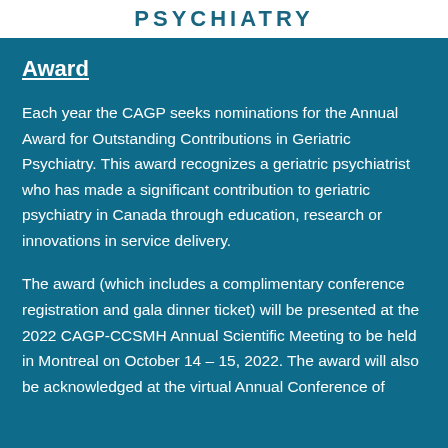PSYCHIATRY
Award
Each year the CAGP seeks nominations for the Annual Award for Outstanding Contributions in Geriatric Psychiatry. This award recognizes a geriatric psychiatrist who has made a significant contribution to geriatric psychiatry in Canada through education, research or innovations in service delivery.
The award (which includes a complimentary conference registration and gala dinner ticket) will be presented at the 2022 CAGP-CCSMH Annual Scientific Meeting to be held in Montreal on October 14 – 15, 2022.  The award will also be acknowledged at the virtual Annual Conference of